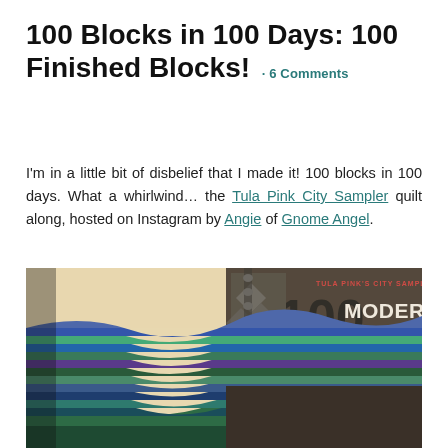100 Blocks in 100 Days: 100 Finished Blocks! · 6 Comments
I'm in a little bit of disbelief that I made it! 100 blocks in 100 days. What a whirlwind… the Tula Pink City Sampler quilt along, hosted on Instagram by Angie of Gnome Angel.
[Figure (photo): A large stack of colorful quilt blocks in blues, purples, and greens piled in front of the Tula Pink City Sampler book '100 Modern Quilt Blocks']